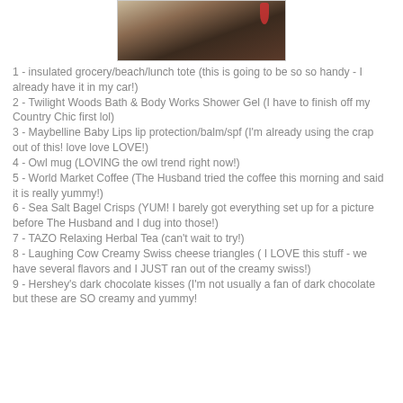[Figure (photo): Photo of items on a wooden surface, partially visible at top of page, showing what appears to be a magazine or paper and a red object]
1 - insulated grocery/beach/lunch tote (this is going to be so so handy - I already have it in my car!)
2 - Twilight Woods Bath & Body Works Shower Gel (I have to finish off my Country Chic first lol)
3 - Maybelline Baby Lips lip protection/balm/spf (I'm already using the crap out of this! love love LOVE!)
4 - Owl mug (LOVING the owl trend right now!)
5 - World Market Coffee (The Husband tried the coffee this morning and said it is really yummy!)
6 - Sea Salt Bagel Crisps (YUM! I barely got everything set up for a picture before The Husband and I dug into those!)
7 - TAZO Relaxing Herbal Tea (can't wait to try!)
8 - Laughing Cow Creamy Swiss cheese triangles ( I LOVE this stuff - we have several flavors and I JUST ran out of the creamy swiss!)
9 - Hershey's dark chocolate kisses (I'm not usually a fan of dark chocolate but these are SO creamy and yummy!